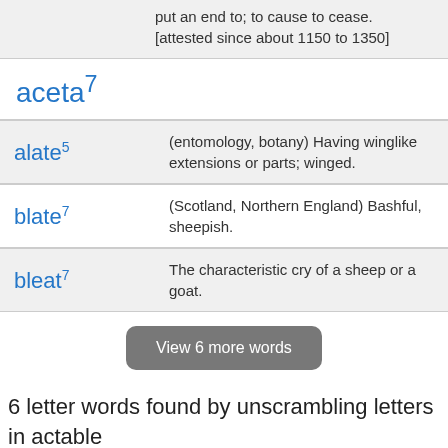put an end to; to cause to cease. [attested since about 1150 to 1350]
aceta⁷
alate⁵ — (entomology, botany) Having winglike extensions or parts; winged.
blate⁷ — (Scotland, Northern England) Bashful, sheepish.
bleat⁷ — The characteristic cry of a sheep or a goat.
View 6 more words
6 letter words found by unscrambling letters in actable
Scrabble